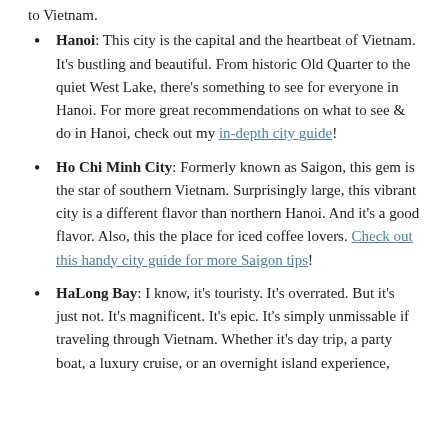to Vietnam.
Hanoi: This city is the capital and the heartbeat of Vietnam. It's bustling and beautiful. From historic Old Quarter to the quiet West Lake, there's something to see for everyone in Hanoi. For more great recommendations on what to see & do in Hanoi, check out my in-depth city guide!
Ho Chi Minh City: Formerly known as Saigon, this gem is the star of southern Vietnam. Surprisingly large, this vibrant city is a different flavor than northern Hanoi. And it's a good flavor. Also, this the place for iced coffee lovers. Check out this handy city guide for more Saigon tips!
HaLong Bay: I know, it's touristy. It's overrated. But it's just not. It's magnificent. It's epic. It's simply unmissable if traveling through Vietnam. Whether it's day trip, a party boat, a luxury cruise, or an overnight island experience,